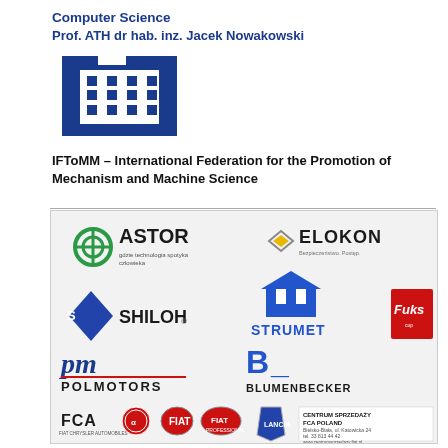Computer Science
Prof. ATH dr hab. inz. Jacek Nowakowski
[Figure (logo): ATH (Akademia Techniczno-Humanistyczna) institutional logo — dark blue stylized building/calendar icon]
IFToMM – International Federation for the Promotion of Mechanism and Machine Science
[Figure (logo): Sponsor logos panel: ASTOR, ELOKON, SHILOH, STRUMET, Fuks, POLMOTORS, BLUMENBECKER, FCA (Fiat Chrysler Automobiles), Alfa Romeo, Fiat, Fiat Professional, Lancia — Centrum Sprzedazy FCA Poland, Bielsko-Biala, ul. Katowicka 24]